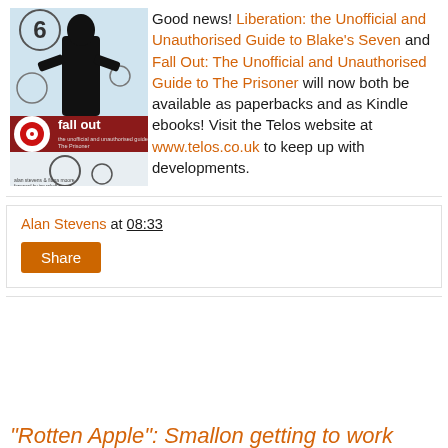[Figure (illustration): Book cover of 'Fall Out: The Unofficial and Unauthorised Guide to The Prisoner' by Alan Stevens and Fiona Moore, with a stylized figure and 'fall out' text on a red/white/black background.]
Good news! Liberation: the Unofficial and Unauthorised Guide to Blake's Seven and Fall Out: The Unofficial and Unauthorised Guide to The Prisoner will now both be available as paperbacks and as Kindle ebooks! Visit the Telos website at www.telos.co.uk to keep up with developments.
Alan Stevens at 08:33
Share
"Rotten Apple": Smallon getting to work